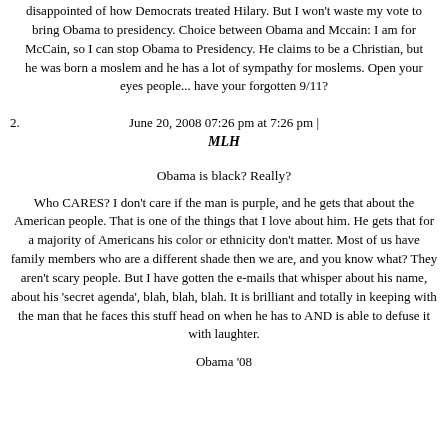disappointed of how Democrats treated Hilary. But I won't waste my vote to bring Obama to presidency. Choice between Obama and Mccain: I am for McCain, so I can stop Obama to Presidency. He claims to be a Christian, but he was born a moslem and he has a lot of sympathy for moslems. Open your eyes people... have your forgotten 9/11?
2. June 20, 2008 07:26 pm at 7:26 pm | MLH
Obama is black? Really?
Who CARES? I don't care if the man is purple, and he gets that about the American people. That is one of the things that I love about him. He gets that for a majority of Americans his color or ethnicity don't matter. Most of us have family members who are a different shade then we are, and you know what? They aren't scary people. But I have gotten the e-mails that whisper about his name, about his 'secret agenda', blah, blah, blah. It is brilliant and totally in keeping with the man that he faces this stuff head on when he has to AND is able to defuse it with laughter.
Obama '08